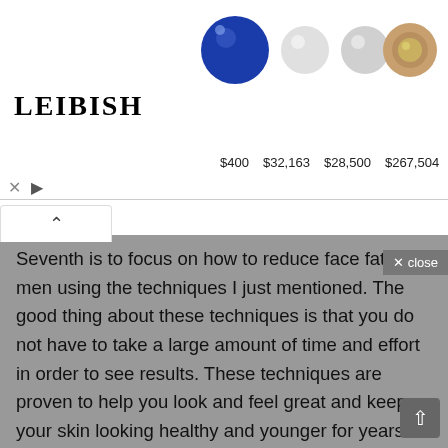[Figure (screenshot): Advertisement banner for Leibish jewelry featuring gemstone images (sapphire, diamonds, pink halo earring, pink heart gem, yellow heart gems) with prices: $400, $32,163, $28,500, $267,504, $19,533]
Seventh is to focus on how to reduce face fat for men using the techniques I just mentioned. The good thing about these techniques is that you do not have to take a large amount of time and effort in order to see results. These techniques are proven to help you look and feel great and keep your skin looking healthy and younger for years to come.

These are some great exercises that you can do on your own to help reduce fat from your face. If